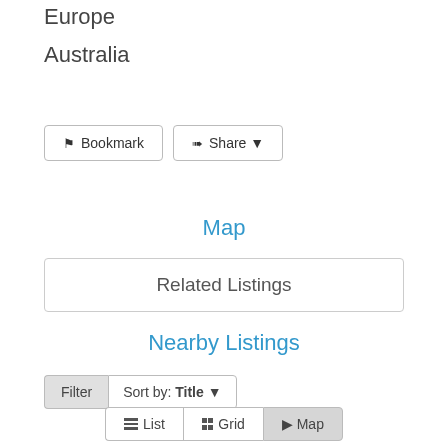Europe
Australia
Bookmark
Share
Map
Related Listings
Nearby Listings
Filter
Sort by: Title
List   Grid   Map